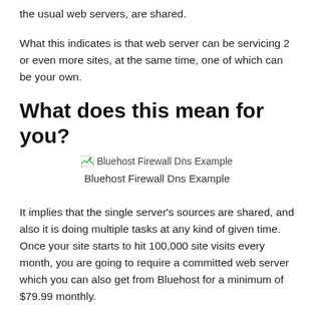the usual web servers, are shared.
What this indicates is that web server can be servicing 2 or even more sites, at the same time, one of which can be your own.
What does this mean for you?
[Figure (other): Broken image placeholder labeled 'Bluehost Firewall Dns Example']
Bluehost Firewall Dns Example
It implies that the single server's sources are shared, and also it is doing multiple tasks at any kind of given time. Once your site starts to hit 100,000 site visits every month, you are going to require a committed web server which you can also get from Bluehost for a minimum of $79.99 monthly.